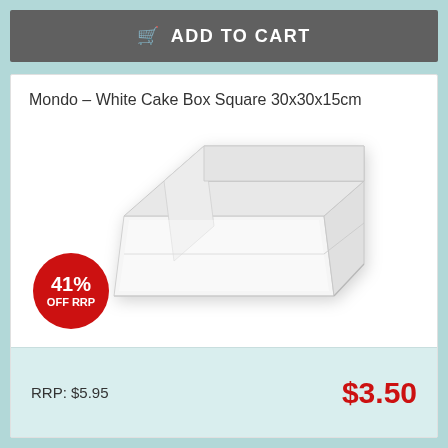ADD TO CART
Mondo – White Cake Box Square 30x30x15cm
[Figure (photo): White square cake box with open top, showing interior, photographed at an angle on white background]
41% OFF RRP
RRP: $5.95
$3.50